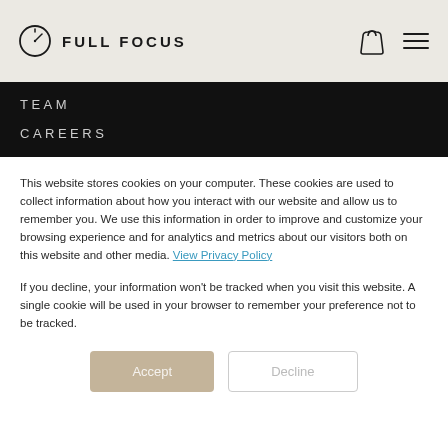FULL FOCUS
TEAM
CAREERS
This website stores cookies on your computer. These cookies are used to collect information about how you interact with our website and allow us to remember you. We use this information in order to improve and customize your browsing experience and for analytics and metrics about our visitors both on this website and other media. View Privacy Policy
If you decline, your information won't be tracked when you visit this website. A single cookie will be used in your browser to remember your preference not to be tracked.
Accept | Decline